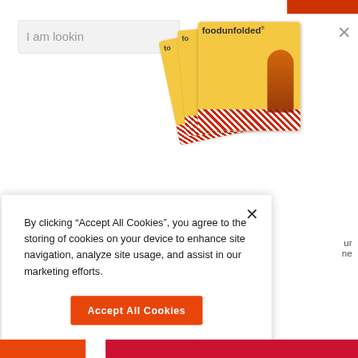[Figure (screenshot): Website background showing a search bar with text 'I am lookin', magazine covers for 'foodunfolded', a partial heading 'WE THINK Y', a red top bar, and a close X button]
By clicking “Accept All Cookies”, you agree to the storing of cookies on your device to enhance site navigation, analyze site usage, and assist in our marketing efforts.
Accept All Cookies
Cookies Settings